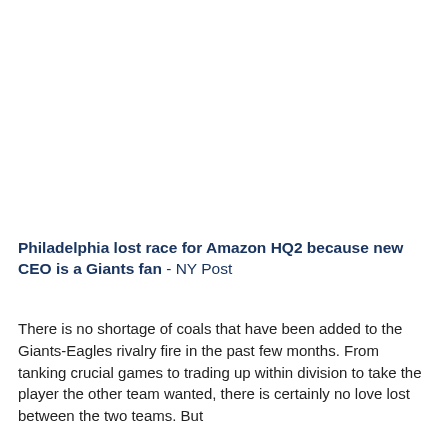Philadelphia lost race for Amazon HQ2 because new CEO is a Giants fan - NY Post
There is no shortage of coals that have been added to the Giants-Eagles rivalry fire in the past few months. From tanking crucial games to trading up within division to take the player the other team wanted, there is certainly no love lost between the two teams. But